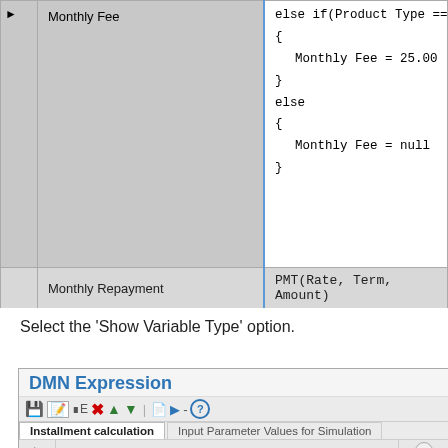[Figure (screenshot): Decision table showing Monthly Fee row with code expression (else if Product Type == 'SP' branch: Monthly Fee = 25.00, else Monthly Fee = null), Monthly Repayment row with PMT(Rate, Term, Amount) expression, and Monthly Repayment + Monthly Fee total row.]
Select the 'Show Variable Type' option.
[Figure (screenshot): DMN Expression editor showing toolbar with save, edit, delete, up/down arrows, and help icons. Tabs: 'Installment calculation' (active) and 'Input Parameter Values for Simulation'. Content area showing input row with '( Product Type, Rate, Term, Amount )'.]